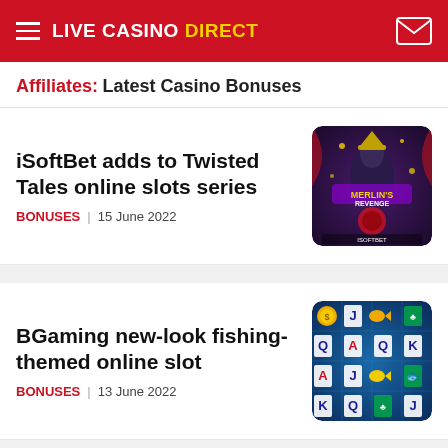LIVE CASINO DIRECT
Affiliates: Latest Casino Bonuses
iSoftBet adds to Twisted Tales online slots series
BONUSES | 15 June 2022
[Figure (photo): Merlin's Revenge slot game promotional image by iSoftBet]
BGaming new-look fishing-themed online slot
BONUSES | 13 June 2022
[Figure (photo): BGaming fishing-themed online slot game screenshot with playing card symbols and fish icons]